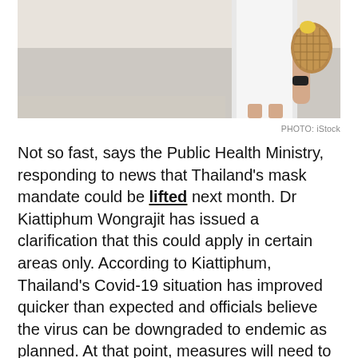[Figure (photo): Woman in white dress holding a woven basket bag, standing on a sandy beach. Only the lower half of her body is visible.]
PHOTO: iStock
Not so fast, says the Public Health Ministry, responding to news that Thailand's mask mandate could be lifted next month. Dr Kiattiphum Wongrajit has issued a clarification that this could apply in certain areas only. According to Kiattiphum, Thailand's Covid-19 situation has improved quicker than expected and officials believe the virus can be downgraded to endemic as planned. At that point, measures will need to be in place to protect the public and ensure they can safely live with Covid-19.